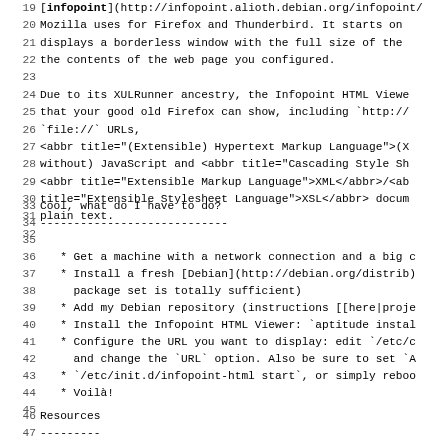20 Mozilla uses for Firefox and Thunderbird. It starts on
21 displays a borderless window with the full size of the
22 the contents of the web page you configured.
23
24 Due to its XULRunner ancestry, the Infopoint HTML Viewe
25 that your good old Firefox can show, including `http://
26 `file://` URLs,
27 <abbr title="(Extensible) Hypertext Markup Language">(X
28 without) JavaScript and <abbr title="Cascading Style Sh
29 <abbr title="Extensible Markup Language">XML</abbr>/<ab
30 title="Extensible Stylesheet Language">XSL</abbr> docum
31 plain text.
32
33 Cool, what do I have to do?
34 ----------------------------
35
36   * Get a machine with a network connection and a big c
37   * Install a fresh [Debian](http://debian.org/distrib)
38     package set is totally sufficient)
39   * Add my Debian repository (instructions [[here|proje
40   * Install the Infopoint HTML Viewer: `aptitude instal
41   * Configure the URL you want to display: edit `/etc/c
42     and change the `URL` option. Also be sure to set `A
43   * `/etc/init.d/infopoint-html start`, or simply reboo
44   * Voilà!
45
46 Resources
47 ---------
48
49 TODO: add License information
50
51   * Source and issue tracker can be found on